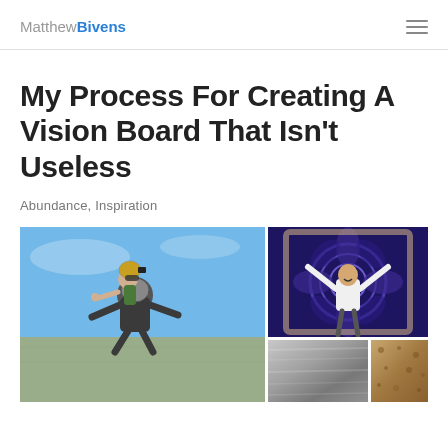Matthew Bivens
My Process For Creating A Vision Board That Isn't Useless
Abundance, Inspiration
[Figure (photo): Collage of images: left side shows two people tandem skydiving in the air above landscape; upper right shows a person standing with arms raised in front of a large decorative mural with floral designs in blue/purple tones; lower right shows two smaller images including a metallic surface and a cork/wood texture.]